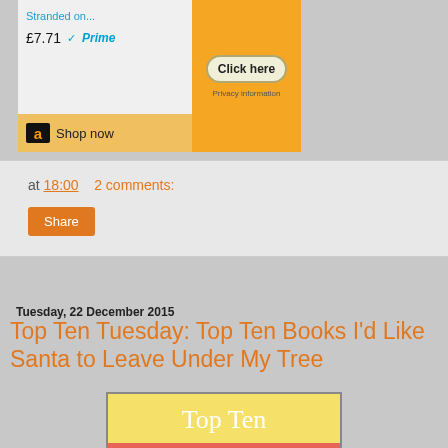[Figure (screenshot): Amazon advertisement banner showing 'Stranded on...' product at £7.71 with Prime logo, orange 'Click here' button with Privacy information text, and Amazon 'Shop now' section]
at 18:00   2 comments:
Share
Tuesday, 22 December 2015
Top Ten Tuesday: Top Ten Books I'd Like Santa to Leave Under My Tree
[Figure (illustration): Top Ten Tuesday logo image with yellow background text 'Top Ten' and coral/red background text 'Tuesday']